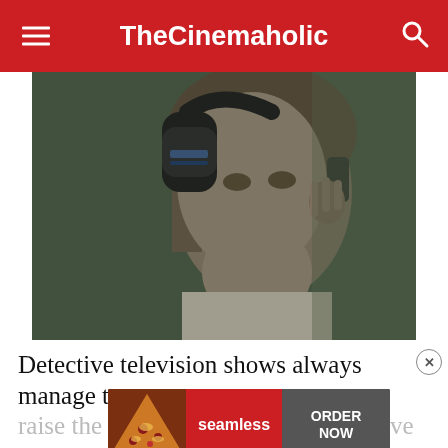TheCinemaholic
[Figure (photo): A person wearing large black headphones and holding a phone to their ear, in a dark, moody scene. The image appears to be from a detective or thriller TV show.]
Detective television shows always manage to raise the innate investigator we all have within us. What makes detective shows so engaging is that there's
[Figure (other): Seamless food delivery advertisement banner with pizza image on left, red 'seamless' logo in center, and dark gray 'ORDER NOW' button on right.]